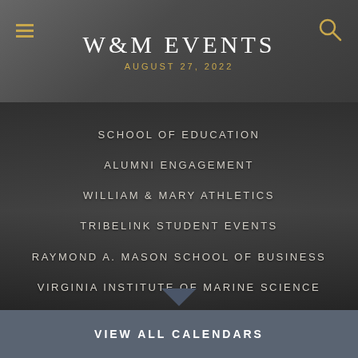W&M EVENTS
AUGUST 27, 2022
SCHOOL OF EDUCATION
ALUMNI ENGAGEMENT
WILLIAM & MARY ATHLETICS
TRIBELINK STUDENT EVENTS
RAYMOND A. MASON SCHOOL OF BUSINESS
VIRGINIA INSTITUTE OF MARINE SCIENCE
VIEW ALL CALENDARS